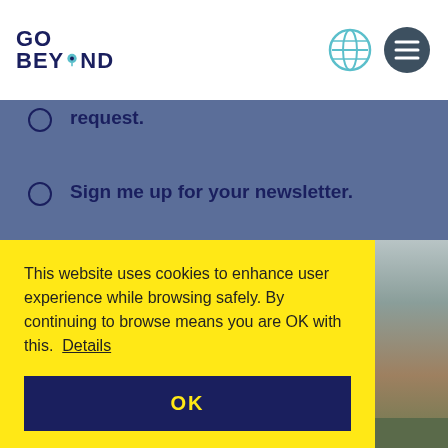[Figure (logo): Go Beyond logo with globe and hamburger menu icons]
request.
Sign me up for your newsletter.
SEND
This website uses cookies to enhance user experience while browsing safely. By continuing to browse means you are OK with this. Details
OK
[Figure (photo): Landscape photo showing hills and sky]